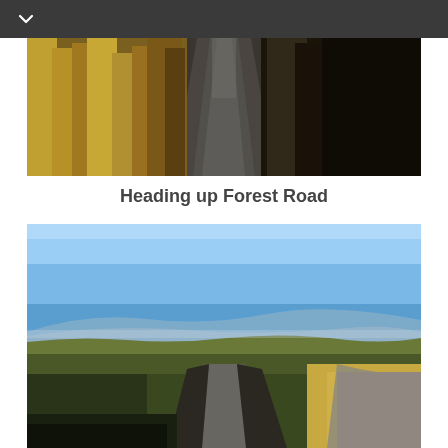[Figure (photo): A forest track or path heading uphill, flanked by golden-brown wild grass on both sides. The path appears gravelly and the vegetation is dense, lit by autumn/winter light.]
Heading up Forest Road
[Figure (photo): A moorland trail heading into the distance under a clear blue sky. Open moorland with dry grass on either side, a stone wall to the right, and distant hills visible on the horizon.]